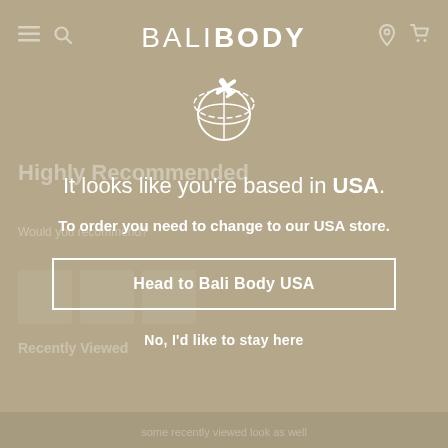BALIBODY
[Figure (illustration): Globe with airplane/plane icon circling it, drawn in white outline style]
It looks like you're based in USA.
To order you need to change to our USA store.
Head to Bali Body USA
No, I'd like to stay here